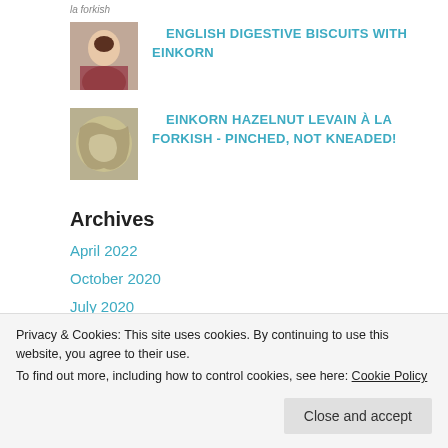la forkish
[Figure (photo): Portrait of a woman in historical style painting]
ENGLISH DIGESTIVE BISCUITS WITH EINKORN
[Figure (photo): Close-up photo of textured bread or baked good]
EINKORN HAZELNUT LEVAIN À LA FORKISH - PINCHED, NOT KNEADED!
Archives
April 2022
October 2020
July 2020
January 2020
Privacy & Cookies: This site uses cookies. By continuing to use this website, you agree to their use.
To find out more, including how to control cookies, see here: Cookie Policy
Close and accept
February 2019